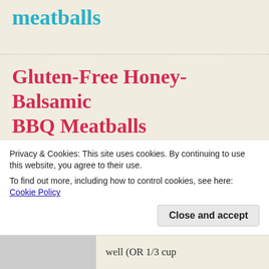meatballs
Gluten-Free Honey-Balsamic BBQ Meatballs
Yield: 24 meatballs
Ingredients:
Privacy & Cookies: This site uses cookies. By continuing to use this website, you agree to their use.
To find out more, including how to control cookies, see here: Cookie Policy
Close and accept
well (OR 1/3 cup